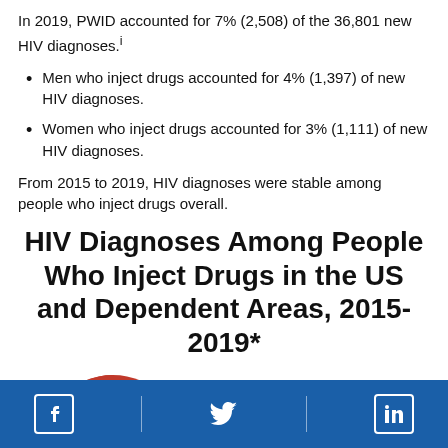In 2019, PWID accounted for 7% (2,508) of the 36,801 new HIV diagnoses.i
Men who inject drugs accounted for 4% (1,397) of new HIV diagnoses.
Women who inject drugs accounted for 3% (1,111) of new HIV diagnoses.
From 2015 to 2019, HIV diagnoses were stable among people who inject drugs overall.
HIV Diagnoses Among People Who Inject Drugs in the US and Dependent Areas, 2015-2019*
[Figure (pie-chart): Partial red pie chart graphic at bottom left, partially cut off]
Social media icons: Facebook, Twitter, LinkedIn